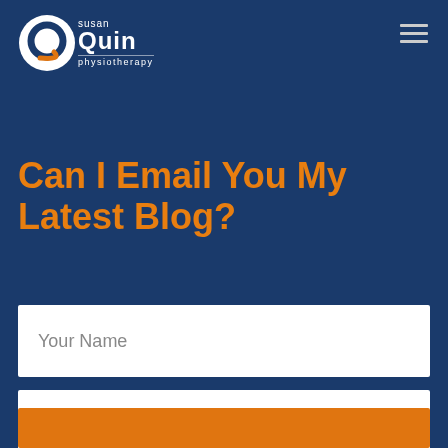[Figure (logo): Susan Quin Physiotherapy logo: circular Q mark with orange swoosh, white text 'susan Quin physiotherapy']
Can I Email You My Latest Blog?
Your Name
Your Email